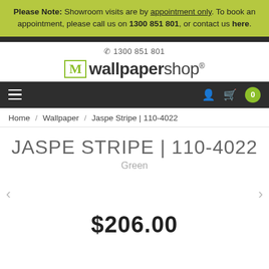Please Note: Showroom visits are by appointment only. To book an appointment, please call us on 1300 851 801, or contact us here.
[Figure (logo): M wallpapershop logo with green M in a box and grey text]
1300 851 801
Home / Wallpaper / Jaspe Stripe | 110-4022
JASPE STRIPE | 110-4022
Green
$206.00